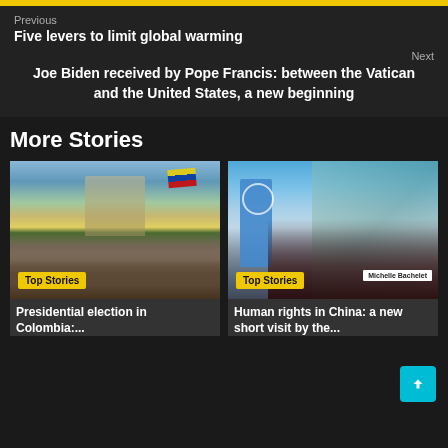Previous
Five levers to limit global warming
Next
Joe Biden received by Pope Francis: between the Vatican and the United States, a new beginning
More Stories
[Figure (photo): Crowd of protesters waving Colombian flag in front of a colonial building, with Top Stories badge]
Presidential election in Colombia:...
[Figure (photo): Woman speaking at a podium with a UN flag, name placard reading Michelle Bachelet, with Top Stories badge]
Human rights in China: a new short visit by the...